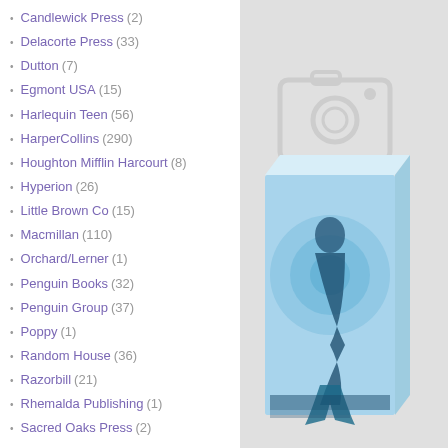Candlewick Press (2)
Delacorte Press (33)
Dutton (7)
Egmont USA (15)
Harlequin Teen (56)
HarperCollins (290)
Houghton Mifflin Harcourt (8)
Hyperion (26)
Little Brown Co (15)
Macmillan (110)
Orchard/Lerner (1)
Penguin Books (32)
Penguin Group (37)
Poppy (1)
Random House (36)
Razorbill (21)
Rhemalda Publishing (1)
Sacred Oaks Press (2)
Scholastic (29)
Silver Dolphin Books (2)
Simon and Schuster (116)
SourceBooks (4)
[Figure (photo): A book box set featuring a mermaid/fantasy themed cover with a figure in blue/icy tones, displayed on a grey background with a camera icon watermark overlay.]